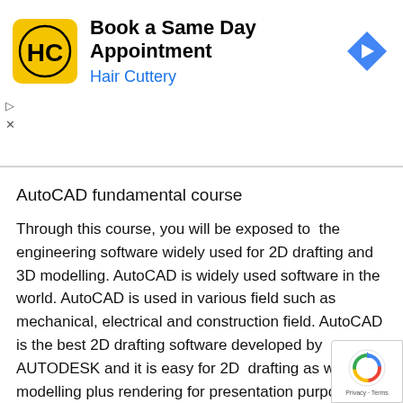[Figure (screenshot): Advertisement banner for Hair Cuttery - Book a Same Day Appointment]
AutoCAD fundamental course
Through this course, you will be exposed to the engineering software widely used for 2D drafting and 3D modelling. AutoCAD is widely used software in the world. AutoCAD is used in various field such as mechanical, electrical and construction field. AutoCAD is the best 2D drafting software developed by AUTODESK and it is easy for 2D drafting as well as modelling plus rendering for presentation purpose mastering AutoCAD software, you will be able to join